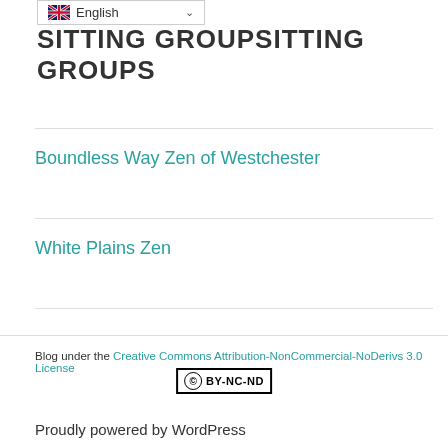[Figure (screenshot): Language selector dropdown showing English with UK flag]
SITTING GROUPS
Boundless Way Zen of Westchester
White Plains Zen
Blog under the Creative Commons Attribution-NonCommercial-NoDerivs 3.0 License
[Figure (logo): Creative Commons BY-NC-ND license badge]
Proudly powered by WordPress